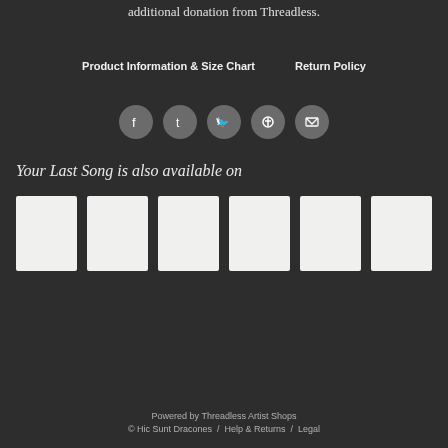additional donation from Threadless.
Product Information & Size Chart   Return Policy
[Figure (other): Social media share icons: Facebook, Tumblr, Twitter, Pinterest, Email — circular grey buttons]
Your Last Song is also available on
[Figure (other): Six white/light square product thumbnails in a row]
Powered by Threadless Artist Shops
© Hic Sunt Dracones / Help & Returns / Legal